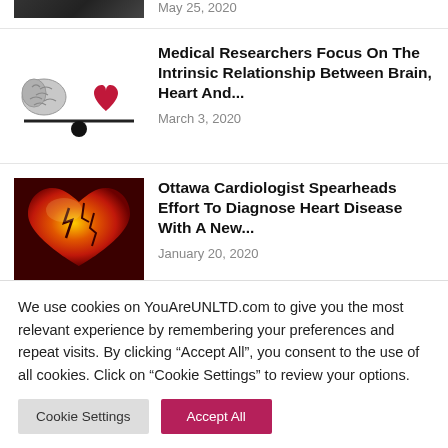[Figure (photo): Partial image of a previous article (cropped at top), appears dark/colorful]
May 25, 2020
[Figure (illustration): Brain and red heart on a balance/seesaw scale with a black fulcrum ball]
Medical Researchers Focus On The Intrinsic Relationship Between Brain, Heart And...
March 3, 2020
[Figure (photo): Close-up illustration of a cracked red and orange heart]
Ottawa Cardiologist Spearheads Effort To Diagnose Heart Disease With A New...
January 20, 2020
We use cookies on YouAreUNLTD.com to give you the most relevant experience by remembering your preferences and repeat visits. By clicking "Accept All", you consent to the use of all cookies. Click on "Cookie Settings" to review your options.